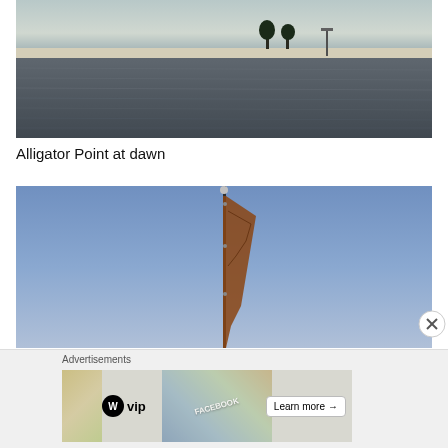[Figure (photo): Wide panoramic photo of Alligator Point at dawn showing calm rippling water with a narrow sandy barrier island and trees silhouetted on the horizon under a muted sky]
Alligator Point at dawn
[Figure (photo): Photo of a flag on a pole against a clear blue sky, the flag appears to be a decorative or organizational flag with brownish-reddish coloring]
Advertisements
[Figure (other): Advertisement banner for WordPress VIP featuring the WordPress logo, VIP text, and a Learn more button with arrow, set over a collage of social media and technology themed background imagery]